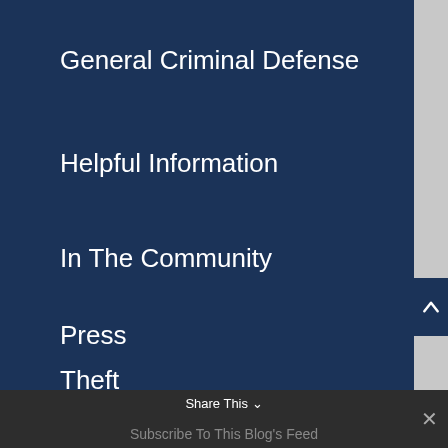General Criminal Defense
Helpful Information
In The Community
Press
Theft
RSS Feed
Share This   Subscribe To This Blog's Feed  ×